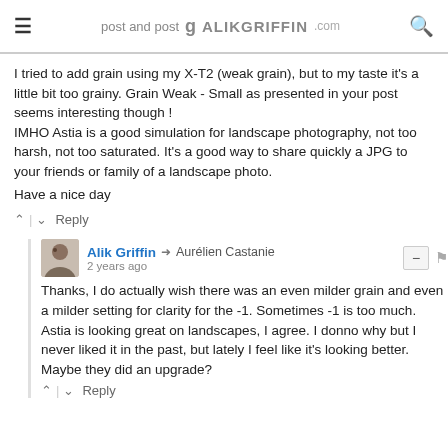≡  g ALIKGRIFFIN  🔍
I tried to add grain using my X-T2 (weak grain), but to my taste it's a little bit too grainy. Grain Weak - Small as presented in your post seems interesting though ! IMHO Astia is a good simulation for landscape photography, not too harsh, not too saturated. It's a good way to share quickly a JPG to your friends or family of a landscape photo.

Have a nice day
^ | v  Reply
Alik Griffin → Aurélien Castanie
2 years ago
Thanks, I do actually wish there was an even milder grain and even a milder setting for clarity for the -1. Sometimes -1 is too much. Astia is looking great on landscapes, I agree. I donno why but I never liked it in the past, but lately I feel like it's looking better. Maybe they did an upgrade?
^ | v  Reply